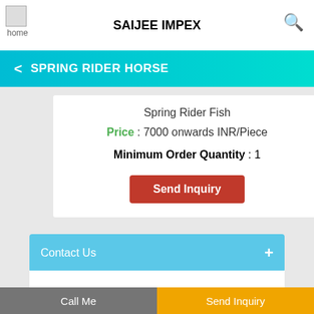SAIJEE IMPEX
SPRING RIDER HORSE
Spring Rider Fish
Price : 7000 onwards INR/Piece
Minimum Order Quantity : 1
Send Inquiry
Contact Us
Call Me
Send Inquiry